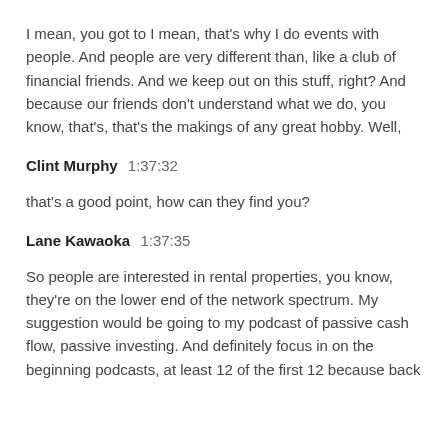I mean, you got to I mean, that's why I do events with people. And people are very different than, like a club of financial friends. And we keep out on this stuff, right? And because our friends don't understand what we do, you know, that's, that's the makings of any great hobby. Well,
Clint Murphy  1:37:32
that's a good point, how can they find you?
Lane Kawaoka  1:37:35
So people are interested in rental properties, you know, they're on the lower end of the network spectrum. My suggestion would be going to my podcast of passive cash flow, passive investing. And definitely focus in on the beginning podcasts, at least 12 of the first 12 because back